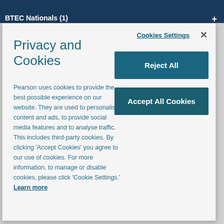BTEC Nationals (1)
Privacy and Cookies
Pearson uses cookies to provide the best possible experience on our website. They are used to personalise content and ads, to provide social media features and to analyse traffic. This includes third-party cookies. By clicking 'Accept Cookies' you agree to our use of cookies. For more information, to manage or disable cookies, please click 'Cookie Settings.' Learn more
Cookies Settings
×
Reject All
Accept All Cookies